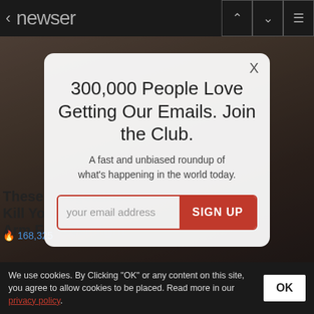< newser
[Figure (screenshot): Background photo of a person on exercise equipment, dimmed/blurred behind modal overlay]
These 2 Vegetables Kill Your Belly And Arm Fat Overnight
168,325
300,000 People Love Getting Our Emails. Join the Club.
A fast and unbiased roundup of what's happening in the world today.
your email address  SIGN UP
We use cookies. By Clicking "OK" or any content on this site, you agree to allow cookies to be placed. Read more in our privacy policy.